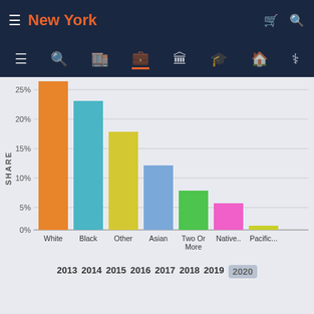New York
[Figure (bar-chart): Share by Race/Ethnicity - New York]
2013  2014  2015  2016  2017  2018  2019  2020